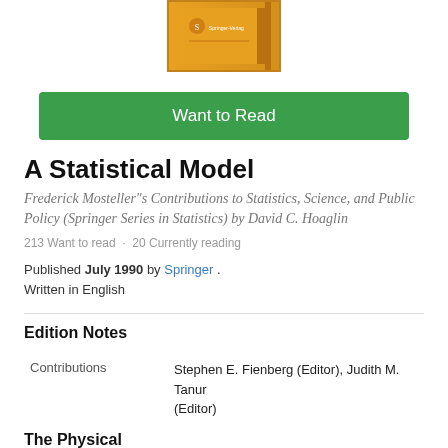[Figure (illustration): Book cover thumbnail showing an orange/golden colored book with Springer Verlag branding]
Want to Read
A Statistical Model
Frederick Mosteller"s Contributions to Statistics, Science, and Public Policy (Springer Series in Statistics) by David C. Hoaglin
213 Want to read · 20 Currently reading
Published July 1990 by Springer . Written in English
Edition Notes
| Contributions | Stephen E. Fienberg (Editor), Judith M. Tanur (Editor) |
The Physical